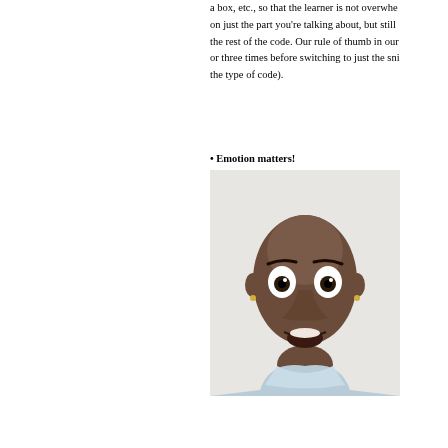a box, etc., so that the learner is not overwhe... on just the part you're talking about, but still the rest of the code. Our rule of thumb in our or three times before switching to just the sni... the type of code).
• Emotion matters!
[Figure (photo): A young Black man with a surprised/shocked expression, wide eyes and open mouth, wearing a light blue polo shirt, photographed against a white/grey background.]